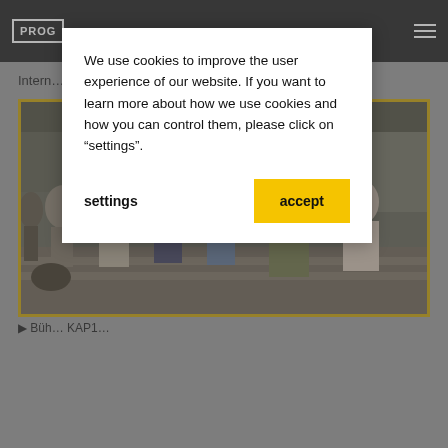PROG[...]
Intern[...] song show [...] d KAP1.
[Figure (photo): Group of people dancing outdoors on a city street/plaza, with a musician visible on the left side. Urban street scene in background.]
Büh... KAP1...
We use cookies to improve the user experience of our website. If you want to learn more about how we use cookies and how you can control them, please click on "settings".
settings
accept